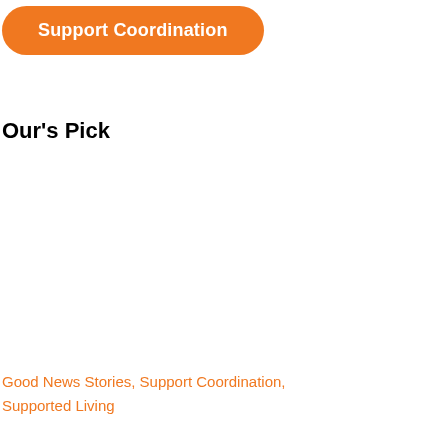[Figure (other): Orange pill-shaped button labeled 'Support Coordination']
Our's Pick
Good News Stories, Support Coordination, Supported Living